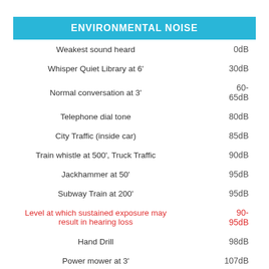ENVIRONMENTAL NOISE
| Sound Source | Level |
| --- | --- |
| Weakest sound heard | 0dB |
| Whisper Quiet Library at 6' | 30dB |
| Normal conversation at 3' | 60-65dB |
| Telephone dial tone | 80dB |
| City Traffic (inside car) | 85dB |
| Train whistle at 500', Truck Traffic | 90dB |
| Jackhammer at 50' | 95dB |
| Subway Train at 200' | 95dB |
| Level at which sustained exposure may result in hearing loss | 90-95dB |
| Hand Drill | 98dB |
| Power mower at 3' | 107dB |